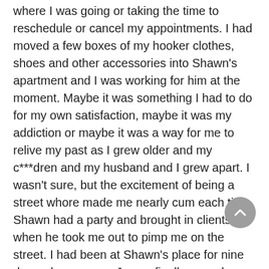where I was going or taking the time to reschedule or cancel my appointments. I had moved a few boxes of my hooker clothes, shoes and other accessories into Shawn's apartment and I was working for him at the moment. Maybe it was something I had to do for my own satisfaction, maybe it was my addiction or maybe it was a way for me to relive my past as I grew older and my c***dren and my husband and I grew apart. I wasn't sure, but the excitement of being a street whore made me nearly cum each time Shawn had a party and brought in clients or when he took me out to pimp me on the street. I had been at Shawn's place for nine days when my son James finally came by looking for me. Marvin had told him that I had disappeared and since he was involved in semester finals, he waited to give it any thought or worry until afterwards. A message to my husband had told him that I didn't fly to Europe to join them and Hondo had actually gone to him to express his worries. James knew about my infrequent hookups with